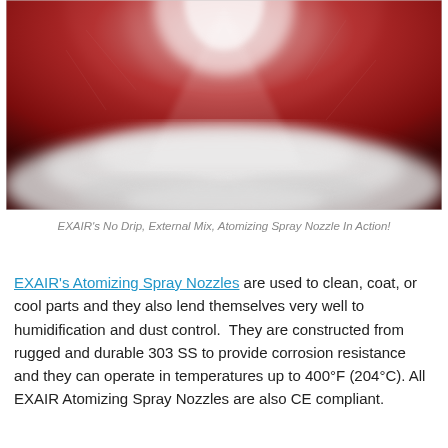[Figure (photo): Close-up photo of an atomizing spray nozzle in action, showing a fine mist/spray against a red and dark metallic background.]
EXAIR's No Drip, External Mix, Atomizing Spray Nozzle In Action!
EXAIR's Atomizing Spray Nozzles are used to clean, coat, or cool parts and they also lend themselves very well to humidification and dust control.  They are constructed from rugged and durable 303 SS to provide corrosion resistance and they can operate in temperatures up to 400°F (204°C). All EXAIR Atomizing Spray Nozzles are also CE compliant.